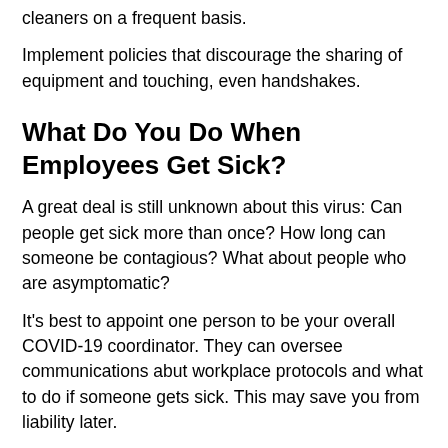cleaners on a frequent basis.
Implement policies that discourage the sharing of equipment and touching, even handshakes.
What Do You Do When Employees Get Sick?
A great deal is still unknown about this virus: Can people get sick more than once? How long can someone be contagious? What about people who are asymptomatic?
It's best to appoint one person to be your overall COVID-19 coordinator. They can oversee communications abut workplace protocols and what to do if someone gets sick. This may save you from liability later.